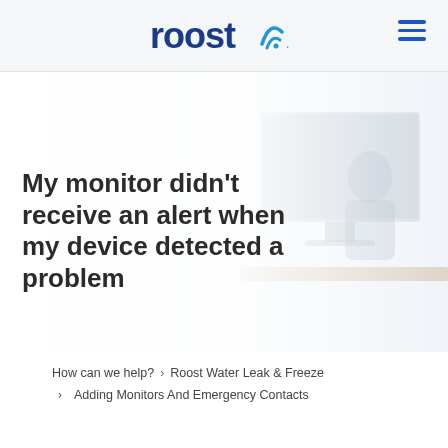[Figure (logo): Roost logo with wifi signal icon in blue text on light gray header bar]
[Figure (photo): Background hero image showing a person sitting at a desk with a large monitor, slightly blurred, fading from white on left to muted blue-gray on right]
My monitor didn't receive an alert when my device detected a problem
How can we help? > Roost Water Leak & Freeze
> Adding Monitors And Emergency Contacts